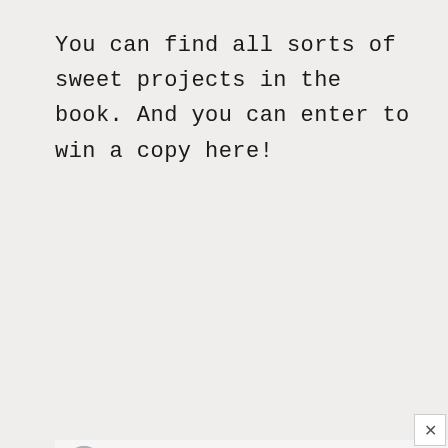You can find all sorts of sweet projects in the book. And you can enter to win a copy here!
[Figure (screenshot): A giveaway widget showing 'IT'S OVER!' with a counter showing 2570, a teal background panel with the title 'Tantalizing Table Top Book', text 'And the winner is...', and winner name 'Kathy C.' with avatar at the bottom.]